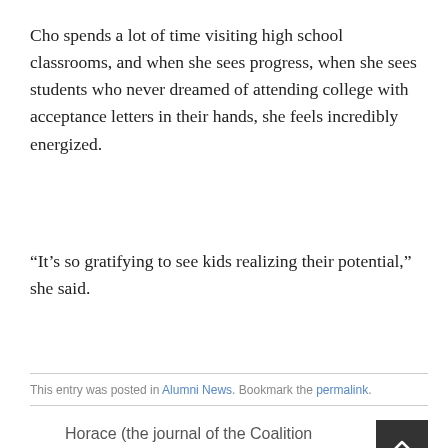Cho spends a lot of time visiting high school classrooms, and when she sees progress, when she sees students who never dreamed of attending college with acceptance letters in their hands, she feels incredibly energized.
“It’s so gratifying to see kids realizing their potential,” she said.
This entry was posted in Alumni News. Bookmark the permalink.
Horace (the journal of the Coalition of Essential Schools) – Infusing Curriculum